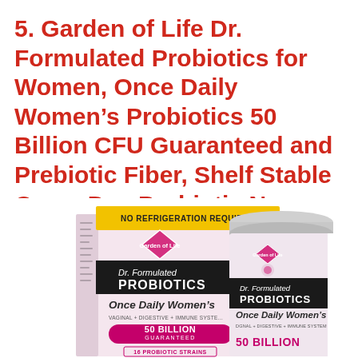5. Garden of Life Dr. Formulated Probiotics for Women, Once Daily Women's Probiotics 50 Billion CFU Guaranteed and Prebiotic Fiber, Shelf Stable One a Day Probiotic No Gluten Dairy or Soy, 30 Capsules
[Figure (photo): Product photo showing Garden of Life Dr. Formulated Probiotics Once Daily Women's 50 Billion CFU supplement box and bottle side by side. Box features yellow 'No Refrigeration Required' banner, Garden of Life logo, Dr. Formulated Probiotics branding, Once Daily Women's label, 50 Billion Guaranteed badge, and 16 Probiotic Strains text. The bottle (canister) shows similar branding on a pink/white label.]